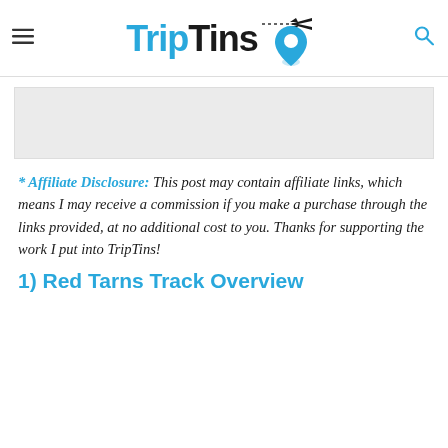TripTins
[Figure (other): Gray advertisement placeholder box]
* Affiliate Disclosure: This post may contain affiliate links, which means I may receive a commission if you make a purchase through the links provided, at no additional cost to you. Thanks for supporting the work I put into TripTins!
1) Red Tarns Track Overview